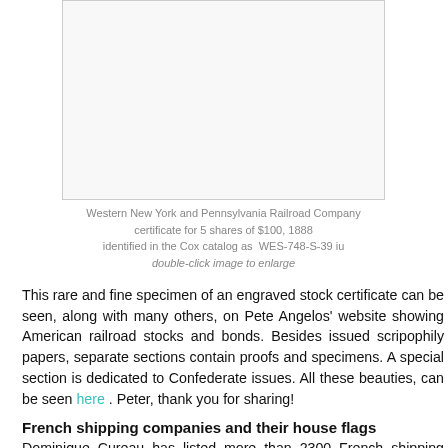[Figure (photo): Stock certificate image placeholder — white box with light border]
Western New York and Pennsylvania Railroad Company certificate for 5 shares of $100, 1888 identified in the Cox catalog as WES-748-S-39 iu double-click image to enlarge
This rare and fine specimen of an engraved stock certificate can be seen, along with many others, on Pete Angelos' website showing American railroad stocks and bonds. Besides issued scripophily papers, separate sections contain proofs and specimens. A special section is dedicated to Confederate issues. All these beauties, can be seen here . Peter, thank you for sharing!
French shipping companies and their house flags
Dominique Cureau has listed more than 2300 French shipping companies and 900 house flags on his website. Interesting to see that several of the flags illustrated are